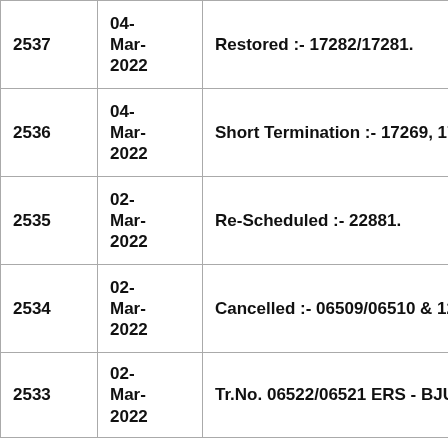| 2537 | 04-Mar-2022 | Restored :- 17282/17281. |
| 2536 | 04-Mar-2022 | Short Termination :- 17269, 1728… |
| 2535 | 02-Mar-2022 | Re-Scheduled :- 22881. |
| 2534 | 02-Mar-2022 | Cancelled :- 06509/06510 & 1238… |
| 2533 | 02-Mar-2022 | Tr.No. 06522/06521 ERS - BJU -… |